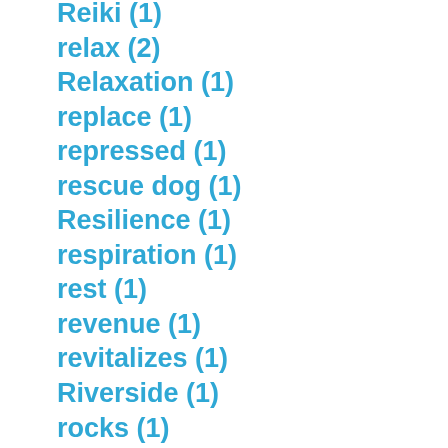Reiki (1)
relax (2)
Relaxation (1)
replace (1)
repressed (1)
rescue dog (1)
Resilience (1)
respiration (1)
rest (1)
revenue (1)
revitalizes (1)
Riverside (1)
rocks (1)
rooted (1)
Roots (3)